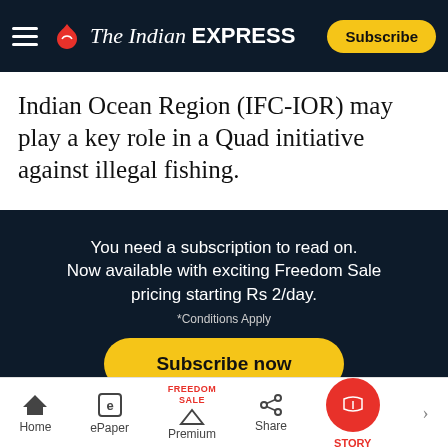The Indian Express — Subscribe
Indian Ocean Region (IFC-IOR) may play a key role in a Quad initiative against illegal fishing.
You need a subscription to read on. Now available with exciting Freedom Sale pricing starting Rs 2/day. *Conditions Apply
Subscribe now
Already a subscriber? Sign in
Home | ePaper | Premium (Freedom Sale) | Share | Story